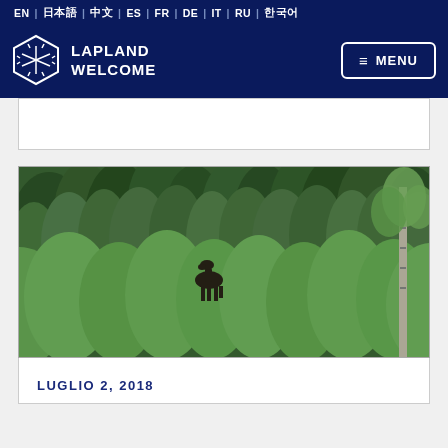EN | 日本語 | 中文 | ES | FR | DE | IT | RU | 한국어
[Figure (logo): Lapland Welcome logo with hexagonal snowflake emblem and text LAPLAND WELCOME, plus MENU button]
[Figure (photo): Forest scene with dense green conifer and birch trees, with a moose/elk visible in the middle distance among the trees]
LUGLIO 2, 2018